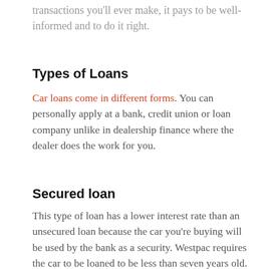transactions you'll ever make, it pays to be well-informed and to do it right.
Types of Loans
Car loans come in different forms. You can personally apply at a bank, credit union or loan company unlike in dealership finance where the dealer does the work for you.
Secured loan
This type of loan has a lower interest rate than an unsecured loan because the car you're buying will be used by the bank as a security. Westpac requires the car to be loaned to be less than seven years old. Meanwhile, the Commonwealth Bank of Australia